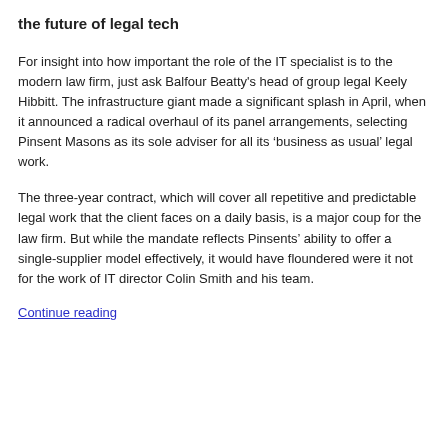the future of legal tech
For insight into how important the role of the IT specialist is to the modern law firm, just ask Balfour Beatty's head of group legal Keely Hibbitt. The infrastructure giant made a significant splash in April, when it announced a radical overhaul of its panel arrangements, selecting Pinsent Masons as its sole adviser for all its ‘business as usual’ legal work.
The three-year contract, which will cover all repetitive and predictable legal work that the client faces on a daily basis, is a major coup for the law firm. But while the mandate reflects Pinsents’ ability to offer a single-supplier model effectively, it would have floundered were it not for the work of IT director Colin Smith and his team.
Continue reading